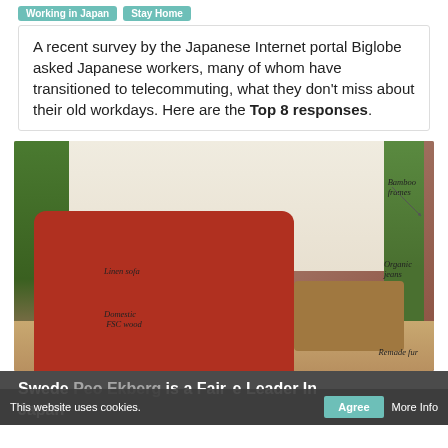Working in Japan  Stay Home
A recent survey by the Japanese Internet portal Biglobe asked Japanese workers, many of whom have transitioned to telecommuting, what they don't miss about their old workdays. Here are the Top 8 responses.
[Figure (photo): Two people sitting on a red sofa in a home interior. Annotations point to: Bamboo frames, Organic jeans, Linen sofa, Domestic FSC wood, Remade fur. Plants and a wooden coffee table are visible.]
Swede Peo Ekberg is a Fair Trade Leader In Japan
This website uses cookies.  Agree  More Info